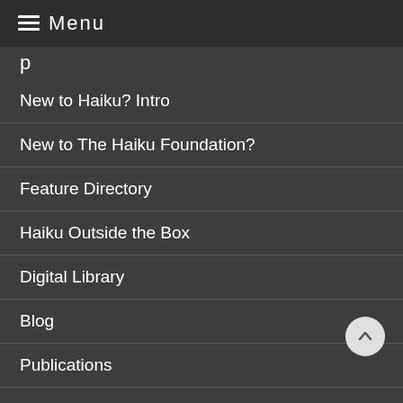≡ Menu
p
New to Haiku? Intro
New to The Haiku Foundation?
Feature Directory
Haiku Outside the Box
Digital Library
Blog
Publications
HaikuLife: THF's Video Project